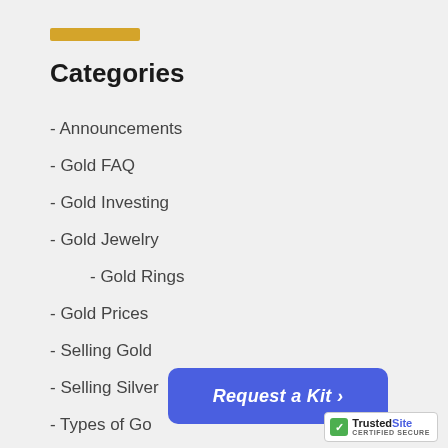Categories
- Announcements
- Gold FAQ
- Gold Investing
- Gold Jewelry
- Gold Rings
- Gold Prices
- Selling Gold
- Selling Silver
- Types of Gold
- Raw Gold